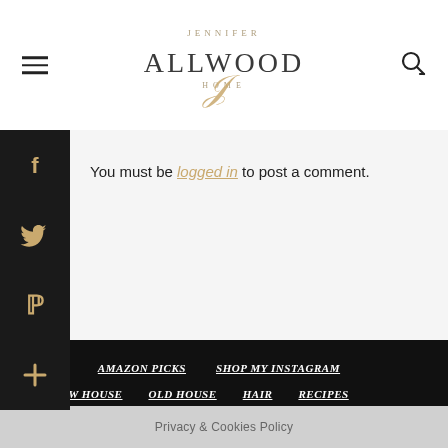[Figure (logo): Jennifer Allwood Home logo — decorative serif/script wordmark with 'JENNIFER' in small caps above 'ALLWOOD' in large serif letters, 'HOME' below, with a stylized cursive J overlapping]
You must be logged in to post a comment.
[Figure (illustration): Social share buttons: Facebook (f icon), Twitter (bird icon), Pinterest (P icon), and a plus (+) button — each black square on the left sidebar]
HOME   AMAZON PICKS   SHOP MY INSTAGRAM   NEW HOUSE   OLD HOUSE   HAIR   RECIPES   ADOPTION
Privacy & Cookies Policy